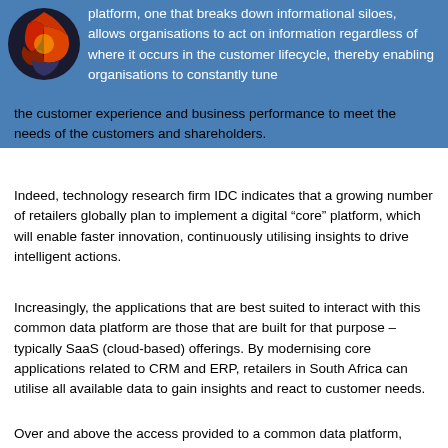[Figure (logo): Circular logo with colorful design on blue banner background]
platform, one that breaks down informational siloes, allows organisations to act on information regardless of where it occurs in the customer lifecycle, thereby enabling organisations to constantly tune the customer experience and business performance to meet the needs of the customers and shareholders.
Indeed, technology research firm IDC indicates that a growing number of retailers globally plan to implement a digital “core” platform, which will enable faster innovation, continuously utilising insights to drive intelligent actions.
Increasingly, the applications that are best suited to interact with this common data platform are those that are built for that purpose – typically SaaS (cloud-based) offerings. By modernising core applications related to CRM and ERP, retailers in South Africa can utilise all available data to gain insights and react to customer needs.
Over and above the access provided to a common data platform, modern CRM and ERP applications also provide improved agility (as cloud-based applications are scalable by their very nature), portable, and provide easy integration options into digital technology like Internet of Things. While this is by no means the end of the digital transformation project, it is an important first step.
While they race to deliver exceptional customer experiences, some